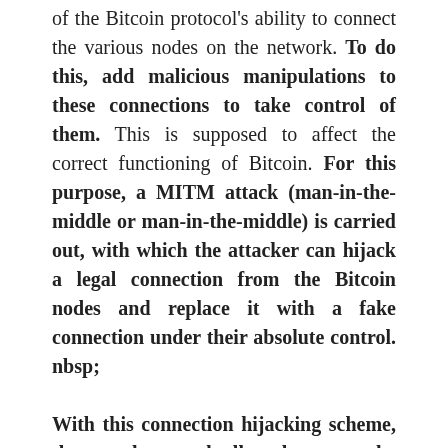of the Bitcoin protocol's ability to connect the various nodes on the network. To do this, add malicious manipulations to these connections to take control of them. This is supposed to affect the correct functioning of Bitcoin. For this purpose, a MITM attack (man-in-the-middle or man-in-the-middle) is carried out, with which the attacker can hijack a legal connection from the Bitcoin nodes and replace it with a fake connection under their absolute control. nbsp;

With this connection hijacking scheme, the attacker gradually takes over the network connections, and at a critical point, the attacker can send incorrect information that can cause the network to malfunction. As a result, the network goes into a state of non-consensus that